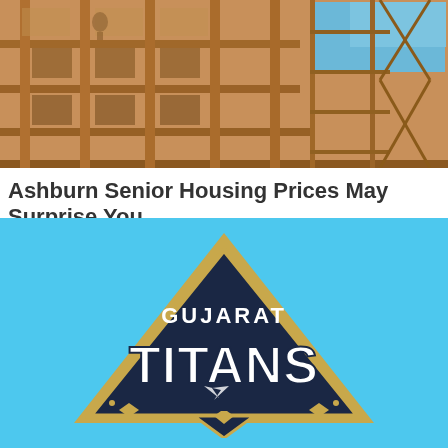[Figure (photo): Construction photo showing a wooden-framed multi-story building under construction with scaffolding and blue sky visible in the top right corner.]
Ashburn Senior Housing Prices May Surprise You
Senior Housing | Sponsored
[Figure (logo): Gujarat Titans IPL cricket team logo — a dark navy blue triangular shield with gold border containing the text GUJARAT on top and TITANS in large white and navy letters below, set against a light blue background.]